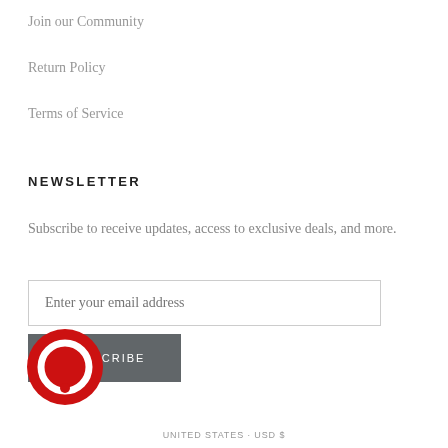Join our Community
Return Policy
Terms of Service
NEWSLETTER
Subscribe to receive updates, access to exclusive deals, and more.
Enter your email address
SUBSCRIBE
[Figure (logo): Red circular chat/message icon logo]
UNITED STATES · USD $